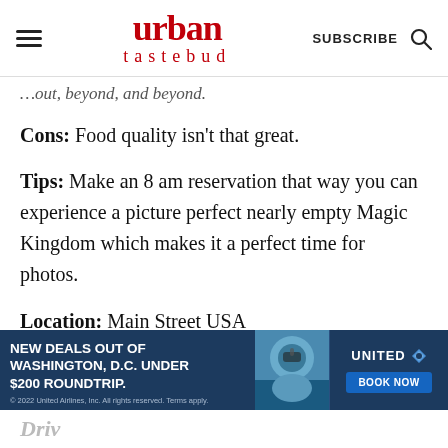urban tastebud | SUBSCRIBE
…out, beyond, and beyond.
Cons: Food quality isn't that great.
Tips: Make an 8 am reservation that way you can experience a picture perfect nearly empty Magic Kingdom which makes it a perfect time for photos.
Location: Main Street USA
[Figure (screenshot): United Airlines advertisement banner: NEW DEALS OUT OF WASHINGTON, D.C. UNDER $200 ROUNDTRIP. BOOK NOW. Shows a person wearing snorkel gear with United Airlines logo.]